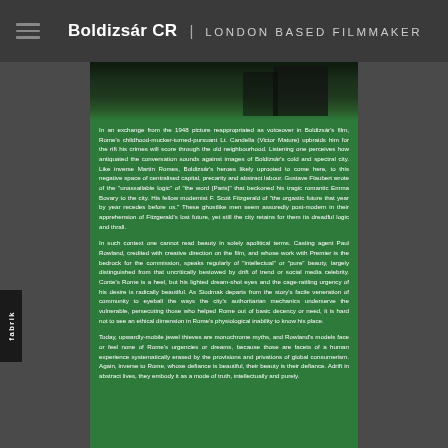Boldizsár CR | LONDON BASED FILMMAKER
[Figure (photo): Partial dark/shadowed photograph at top of green content column]
In an exchange from the 1948 picture reappropriated as voiceover in Boldizsár's film, Rome's childhood-mucker-turned-pursuant Lt. Candella (Victor Mature) upbraids him for the rift his crimes will score through the old neighbourhood. Listening one perceives how antiquated the conversation sounds against images of Boldizsár's cold and spectral city. Like inverse Martin Romes, Boldizsár's heroes likely uprooted to come here, to this negative space of centralised capital, precarity and abstract labour. Gustave Flaubert wrote of the "unassailable logic" of "the word [Paris]" that beckoned his tragic romantic Emma Bovary to the city. His fellow modernist F. Scott Fitzgerald of "the orgastic future that year by year recedes before us." These ghostlike men seem assuredly post-modern in their apprehension of Fitzgerald's lost future, yet still the city retains for them its dreadful logic and thrall.
In such context one cannot read beauty in solely apolitical terms. Casting agent Paul Rowland, credited with creative direction on the film, and whose work with Premier is the bedrock for the commission, speaks regularly of "intellectual" or "pure" beauty, largely distinguished from that uncritically bestowed by drift of trend or social media celebrity. Conte's Rome is a heel, but his lighted dream-shot eyes and the cage-rattling urgency of his desire is radically beautiful. As Siodmak departs from the story's facile veneration of community to eyeball the ways the city's authoritarian mechanics underserve the vulnerable, persecuting those who helped Rome out of basic decency or need, it is hard not to see an ethical dimension in Rome's physiological inability to know his place.
Today, upwardly-mobile jewel thieves are monochrome myths, and Rowland's models face or feel none of Rome's urgencies or dreams, because those are facets of a human experience systematically erased by the provisions and privations of global consumerism. Again, inverse to Rome, whose defiance is beautiful, their beauty is their defiance. Adrift in abstract lives, they embody it as a mode of truth, intellectually and purely.